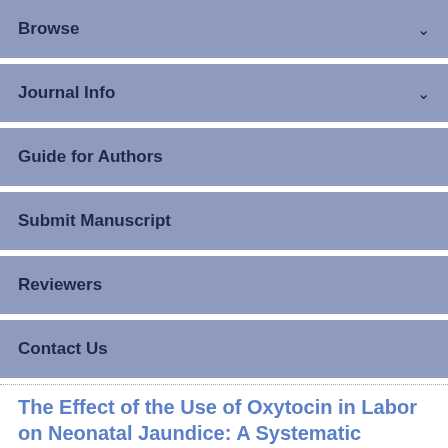Browse
Journal Info
Guide for Authors
Submit Manuscript
Reviewers
Contact Us
The Effect of the Use of Oxytocin in Labor on Neonatal Jaundice: A Systematic Review and Meta-Analysis